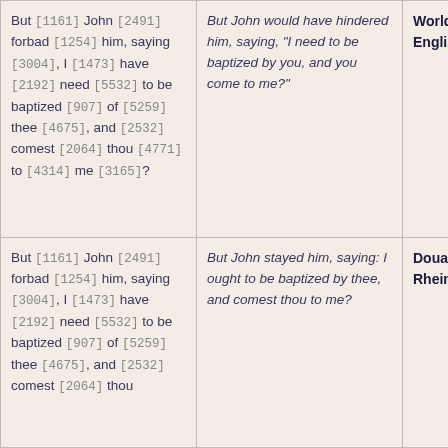|  |  |  |
| --- | --- | --- |
| But [1161] John [2491] forbad [1254] him, saying [3004], I [1473] have [2192] need [5532] to be baptized [907] of [5259] thee [4675], and [2532] comest [2064] thou [4771] to [4314] me [3165]? | But John would have hindered him, saying, "I need to be baptized by you, and you come to me?" | World English |
| But [1161] John [2491] forbad [1254] him, saying [3004], I [1473] have [2192] need [5532] to be baptized [907] of [5259] thee [4675], and [2532] comest [2064] thou [2064] thou... | But John stayed him, saying: I ought to be baptized by thee, and comest thou to me? | Douay Rheims |